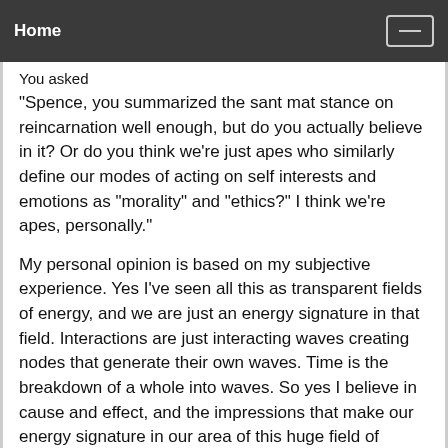Home
You asked
"Spence, you summarized the sant mat stance on reincarnation well enough, but do you actually believe in it? Or do you think we're just apes who similarly define our modes of acting on self interests and emotions as "morality" and "ethics?" I think we're apes, personally."
My personal opinion is based on my subjective experience. Yes I've seen all this as transparent fields of energy, and we are just an energy signature in that field. Interactions are just interacting waves creating nodes that generate their own waves. Time is the breakdown of a whole into waves. So yes I believe in cause and effect, and the impressions that make our energy signature in our area of this huge field of energy. And I believe we are living, basically, through a pre-recording, that it has all been done. Time can only exist from a past, present and future. And when you can turn the play button to fast forward, reverse and pause in meditation, it's pretty clear the distinctions between the present, the past and the future are just the result of forcing a multidimensional